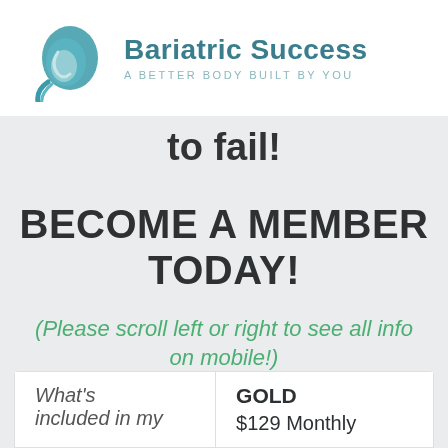[Figure (logo): Bariatric Success logo with teal stomach/swirl graphic and text 'Bariatric Success - A BETTER BODY BUILT BY YOU']
to fail!
BECOME A MEMBER TODAY!
(Please scroll left or right to see all info on mobile!)
| What's included in my | GOLD
$129 Monthly |